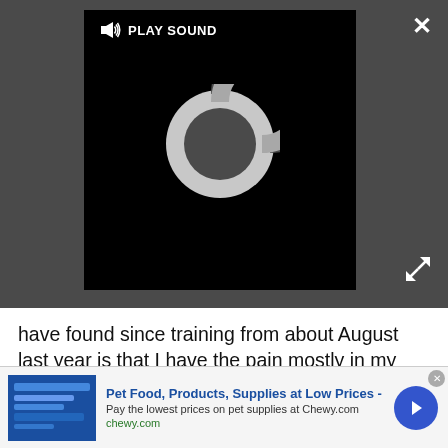[Figure (screenshot): Video player with dark gray background, black video area showing a loading spinner circle, a 'PLAY SOUND' button overlay with speaker icon, a close X button top-right, and an expand icon bottom-right.]
have found since training from about August last year is that I have the pain mostly in my lower back in the left hand side which used to cause pinching of my hamstring especially going uphill. This has mostly gone to be replaced by this Piriformis syndrome in the last 2 months.
Symptoms are the usual; real tenderness in my left buttock which runs down my leg and numbing, nagging nerve pain that runs down my leg through to
[Figure (screenshot): Advertisement banner: Chewy.com pet food ad with blue product image placeholder on left, bold blue title 'Pet Food, Products, Supplies at Low Prices -', description 'Pay the lowest prices on pet supplies at Chewy.com', green URL 'chewy.com', and a blue circular arrow button on the right.]